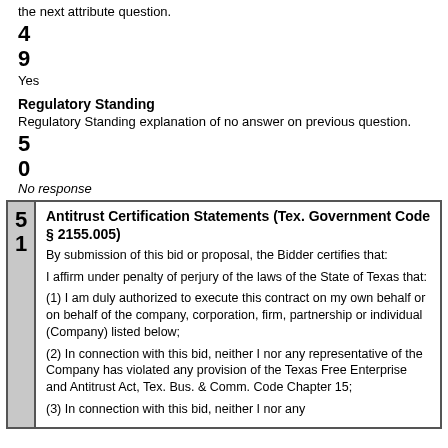the next attribute question.
4
9
Yes
Regulatory Standing
Regulatory Standing explanation of no answer on previous question.
5
0
No response
| 51 | Antitrust Certification Statements (Tex. Government Code § 2155.005) |
| --- | --- |
|  | By submission of this bid or proposal, the Bidder certifies that: |
|  | I affirm under penalty of perjury of the laws of the State of Texas that: |
|  | (1) I am duly authorized to execute this contract on my own behalf or on behalf of the company, corporation, firm, partnership or individual (Company) listed below; |
|  | (2) In connection with this bid, neither I nor any representative of the Company has violated any provision of the Texas Free Enterprise and Antitrust Act, Tex. Bus. & Comm. Code Chapter 15; |
|  | (3) In connection with this bid, neither I nor any |